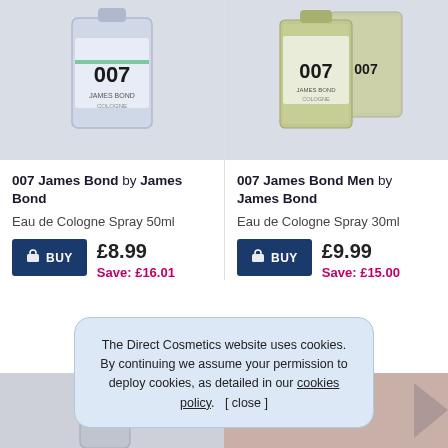[Figure (photo): 007 James Bond Eau de Cologne bottle, 50ml, light grey-blue packaging]
[Figure (photo): 007 James Bond Men Eau de Cologne bottles, 30ml, two bottles with metallic textured packaging]
007 James Bond by James Bond
Eau de Cologne Spray 50ml
007 James Bond Men by James Bond
Eau de Cologne Spray 30ml
£8.99
Save: £16.01
£9.99
Save: £15.00
The Direct Cosmetics website uses cookies. By continuing we assume your permission to deploy cookies, as detailed in our cookies policy.   [ close ]
[Figure (photo): Bottom product images partially visible - 007 cologne bottles]
[Figure (photo): Bottom right product image partially visible]